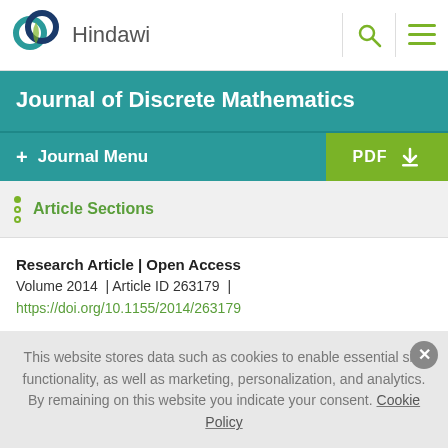Hindawi
Journal of Discrete Mathematics
+ Journal Menu | PDF
Article Sections
Research Article | Open Access
Volume 2014 | Article ID 263179 |
https://doi.org/10.1155/2014/263179
This website stores data such as cookies to enable essential site functionality, as well as marketing, personalization, and analytics. By remaining on this website you indicate your consent. Cookie Policy